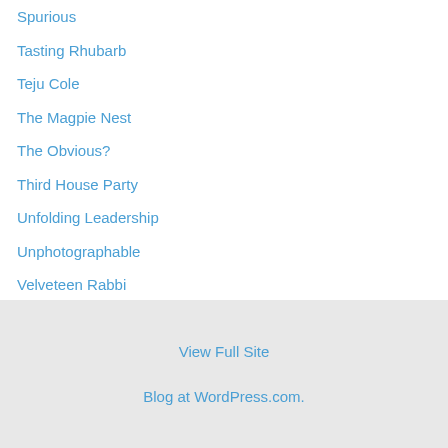Spurious
Tasting Rhubarb
Teju Cole
The Magpie Nest
The Obvious?
Third House Party
Unfolding Leadership
Unphotographable
Velveteen Rabbi
Via Negativa
Whiskey River
wood s lot
View Full Site
Blog at WordPress.com.